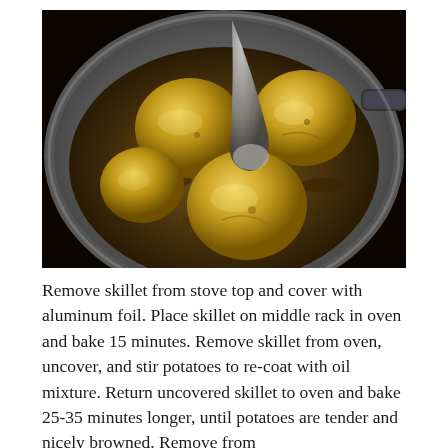[Figure (photo): Overhead view of small yellow potatoes being stirred in a dark spice mixture inside a silver skillet or saucepan, with a large spoon visible.]
Remove skillet from stove top and cover with aluminum foil. Place skillet on middle rack in oven and bake 15 minutes. Remove skillet from oven, uncover, and stir potatoes to re-coat with oil mixture. Return uncovered skillet to oven and bake 25-35 minutes longer, until potatoes are tender and nicely browned. Remove from